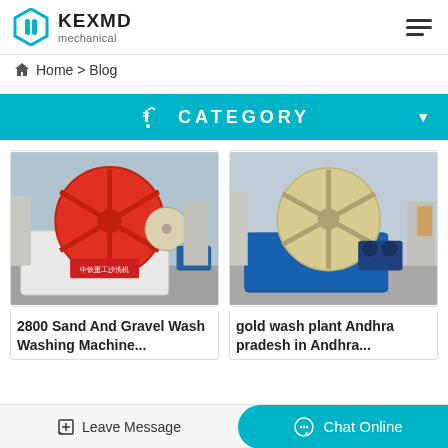KEXMD mechanical
Home > Blog
CATEGORY
[Figure (photo): Red and white bucket wheel sand washing machine outdoors]
2800 Sand And Gravel Wash Washing Machine...
[Figure (photo): Yellow and blue bucket wheel sand washing machine outdoors]
gold wash plant Andhra pradesh in Andhra...
Leave Message  Chat Online